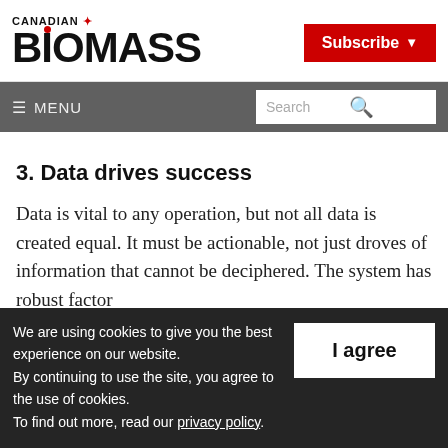CANADIAN BIOMASS — Subscribe
☰ MENU | Search
3. Data drives success
Data is vital to any operation, but not all data is created equal. It must be actionable, not just droves of information that cannot be deciphered. The system has robust factor
We are using cookies to give you the best experience on our website.
By continuing to use the site, you agree to the use of cookies.
To find out more, read our privacy policy.